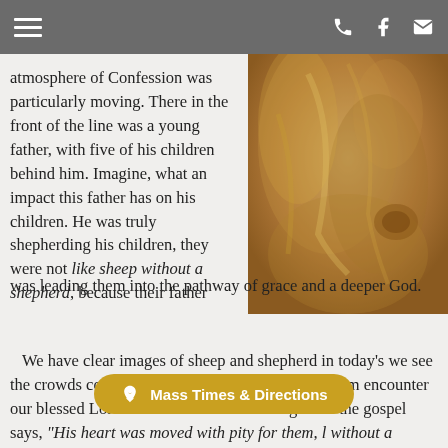Navigation bar with hamburger menu, phone, Facebook, and email icons
atmosphere of Confession was particularly moving. There in the front of the line was a young father, with five of his children behind him. Imagine, what an impact this father has on his children. He was truly shepherding his children, they were not like sheep without a shepherd, because their father was leading them into the pathway of grace and a deeper God.
[Figure (photo): Close-up photo of draped golden/tan fabric or robe with folds]
We have clear images of sheep and shepherd in today's we see the crowds continually seeking Jesus, following Him encounter our blessed Lord. Jesus sees this wandering an as the gospel says, "His heart was moved with pity for them, like sheep without a shepherd." We ne direction of our Lord, our Good Shepherd. Whenever we w
Mass Times & Directions